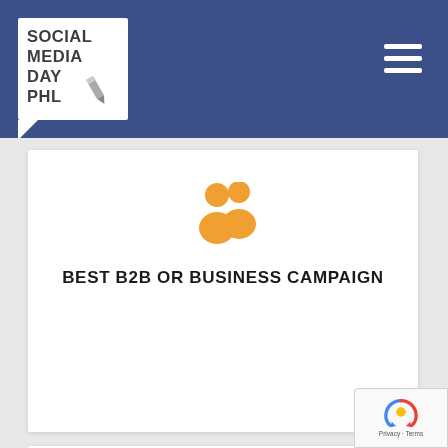Social Media Day PHL - navigation header with logo and hamburger menu
[Figure (logo): Social Media Day PHL logo: white speech bubble with bold text SOCIAL MEDIA DAY PHL and a pen/pencil icon, on dark blue header background]
[Figure (illustration): Orange people/users icon (two person silhouettes)]
BEST B2B OR BUSINESS CAMPAIGN